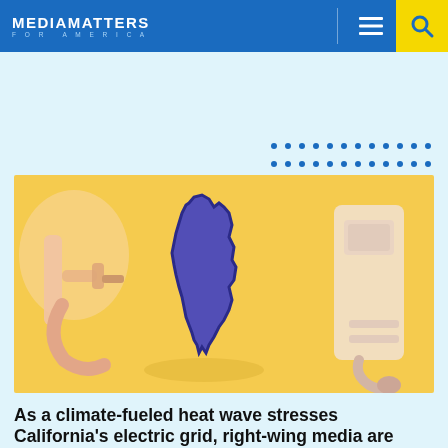MEDIA MATTERS FOR AMERICA
[Figure (illustration): Illustration showing a yellow-tinted background with gas pump nozzle on left, an EV charging station on right, and a blue silhouette of the state of California in the center.]
As a climate-fueled heat wave stresses California's electric grid, right-wing media are disingenuously attacking